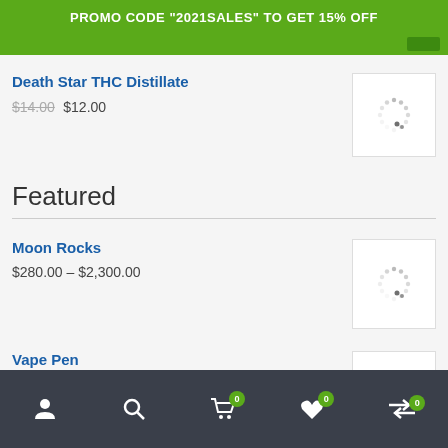PROMO CODE "2021SALES" TO GET 15% OFF
Death Star THC Distillate
$14.00 $12.00
Featured
Moon Rocks
$280.00 – $2,300.00
Vape Pen
$250.00 – $700.00
0 0 0